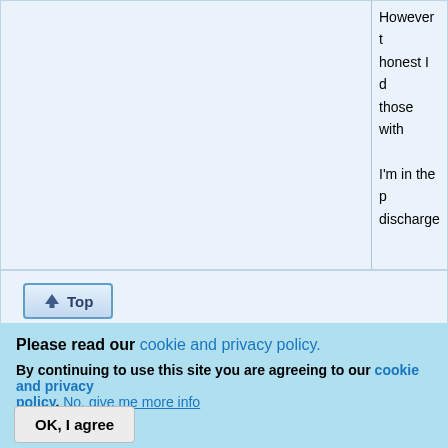However honest I d those with I'm in the p discharge
[Figure (other): Top button with arrow icon and label 'Top']
Wed, 04/21/2021 - 18:09
Sirstinky
Offline
Last seen: 39 min ago
Joined: 11/02/2018 - 17:07
That's dan be in a pro bought fro
Please read our cookie and privacy policy.
By continuing to use this site you are agreeing to our cookie and privacy policy. No, give me more info
OK, I agree